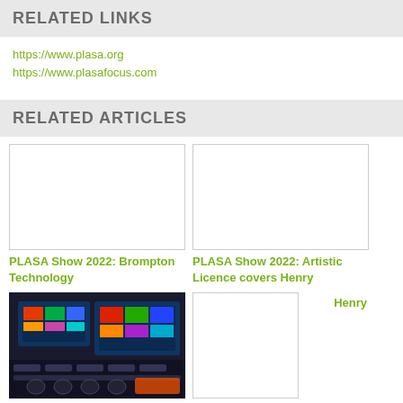RELATED LINKS
https://www.plasa.org
https://www.plasafocus.com
RELATED ARTICLES
[Figure (photo): White image placeholder for PLASA Show 2022 Brompton Technology article]
PLASA Show 2022: Brompton Technology
[Figure (photo): White image placeholder for PLASA Show 2022 Artistic Licence article]
PLASA Show 2022: Artistic Licence covers Henry
[Figure (photo): Photo of audio/lighting control console with colorful screens in dark environment]
PLASA Show 2022: ETC returns with Eos Apex
[Figure (photo): White image placeholder and partial image for Packard appointed FD at Martin Audio]
Packard appointed FD at Martin Audio